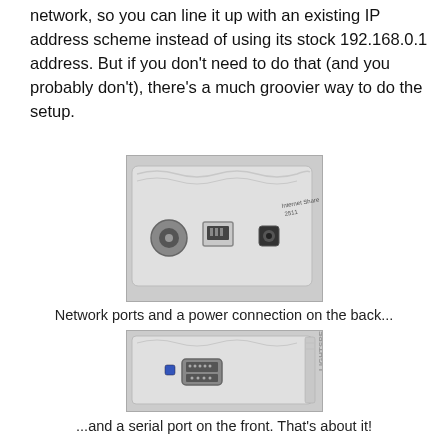network, so you can line it up with an existing IP address scheme instead of using its stock 192.168.0.1 address. But if you don't need to do that (and you probably don't), there's a much groovier way to do the setup.
[Figure (photo): Photo of the back of a networking device (Internet Share 2511) showing coaxial port, Ethernet RJ-45 port, and power connector on a white/silver unit.]
Network ports and a power connection on the back...
[Figure (photo): Photo of the front of a networking device labeled LIGHTSPEED showing a serial DB-9 port and a small blue indicator, device is white/silver.]
...and a serial port on the front. That's about it!